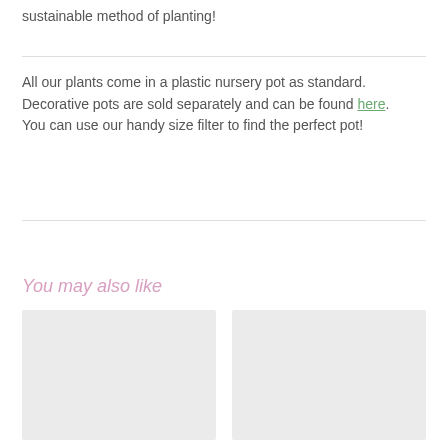sustainable method of planting!
All our plants come in a plastic nursery pot as standard. Decorative pots are sold separately and can be found here. You can use our handy size filter to find the perfect pot!
You may also like
[Figure (photo): Two image placeholders showing product recommendations in a 'You may also like' section]